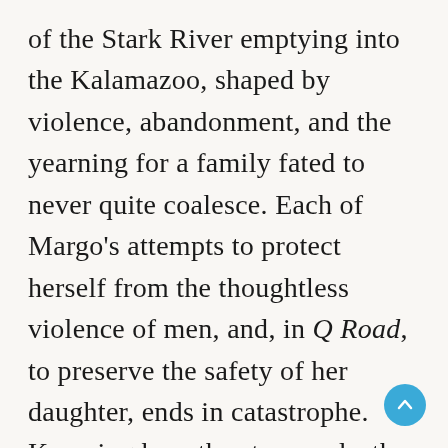of the Stark River emptying into the Kalamazoo, shaped by violence, abandonment, and the yearning for a family fated to never quite coalesce. Each of Margo’s attempts to protect herself from the thoughtless violence of men, and, in Q Road, to preserve the safety of her daughter, ends in catastrophe. Knowing how the story ends, the vows of Margo—young, pregnant, alone—to be a better mother than Luanne, to never kill again, are more poignant and devastating